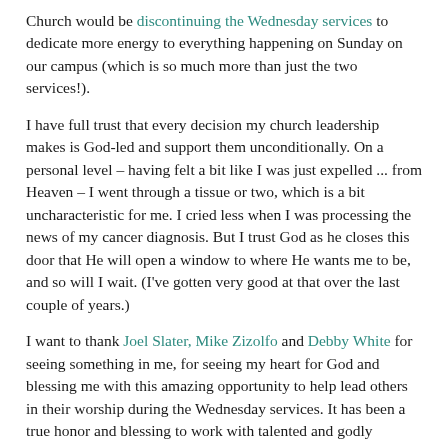Church would be discontinuing the Wednesday services to dedicate more energy to everything happening on Sunday on our campus (which is so much more than just the two services!).
I have full trust that every decision my church leadership makes is God-led and support them unconditionally. On a personal level – having felt a bit like I was just expelled ... from Heaven – I went through a tissue or two, which is a bit uncharacteristic for me. I cried less when I was processing the news of my cancer diagnosis. But I trust God as he closes this door that He will open a window to where He wants me to be, and so will I wait. (I've gotten very good at that over the last couple of years.)
I want to thank Joel Slater, Mike Zizolfo and Debby White for seeing something in me, for seeing my heart for God and blessing me with this amazing opportunity to help lead others in their worship during the Wednesday services. It has been a true honor and blessing to work with talented and godly musicians like Adam Miller, Nate Miller and Phillip Bassham who also brought their heart for the Lord as well as their instruments every Wednesday and to many practices. It was a joy to work with you, play with you, and worship with you, my brothers!